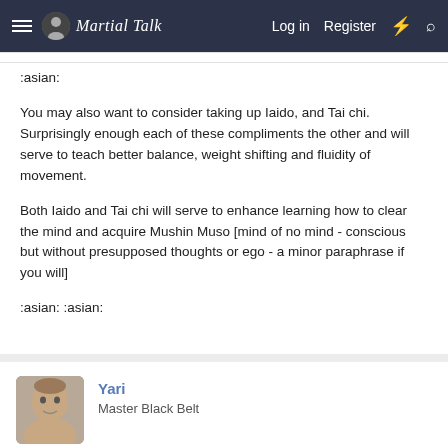Martial Talk — Log in  Register
:asian:
You may also want to consider taking up Iaido, and Tai chi. Surprisingly enough each of these compliments the other and will serve to teach better balance, weight shifting and fluidity of movement.
Both Iaido and Tai chi will serve to enhance learning how to clear the mind and acquire Mushin Muso [mind of no mind - conscious but without presupposed thoughts or ego - a minor paraphrase if you will]
:asian: :asian:
Yari
Master Black Belt